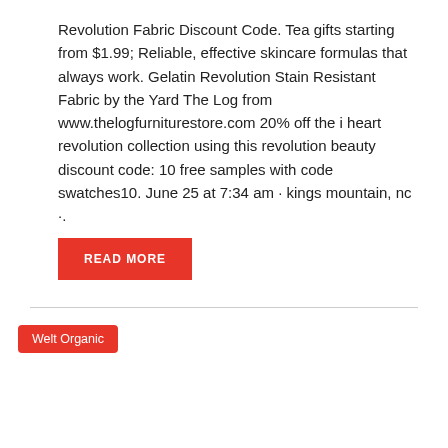Revolution Fabric Discount Code. Tea gifts starting from $1.99; Reliable, effective skincare formulas that always work. Gelatin Revolution Stain Resistant Fabric by the Yard The Log from www.thelogfurniturestore.com 20% off the i heart revolution collection using this revolution beauty discount code: 10 free samples with code swatches10. June 25 at 7:34 am · kings mountain, nc ·.
READ MORE
Welt Organic